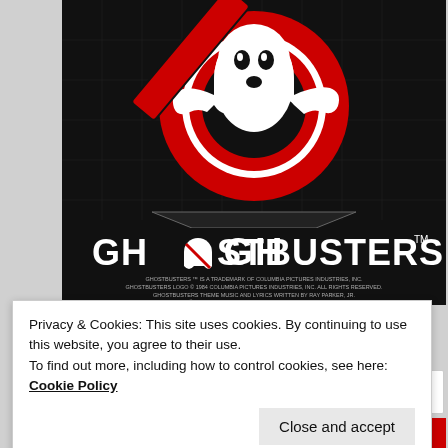[Figure (illustration): Ghostbusters movie poster/logo on black background with grid lines. Shows the iconic white ghost in a red 'no' circle symbol. Below the logo reads 'GHOSTBUSTERS' in large white text with the ghost replacing the letter O, followed by trademark symbol. Small copyright text reads: GHOSTBUSTERS TM IS A TRADEMARK OF COLUMBIA PICTURES INDUSTRIES, INC. GHOSTBUSTERS LOGO C 1984 COLUMBIA PICTURES INDUSTRIES, INC. ALL RIGHTS RESERVED. GHOSTBUSTERS THEME MUSIC AND LYRICS WRITTEN BY RAY PARKER, JR. 1984 ACTIVISION, INC. ALL RIGHTS RESERVED. C 1984 GOLDEN TORCH MUSIC CORP. AND RAYDIOLA MUSIC CORP.]
Privacy & Cookies: This site uses cookies. By continuing to use this website, you agree to their use.
To find out more, including how to control cookies, see here: Cookie Policy
Close and accept